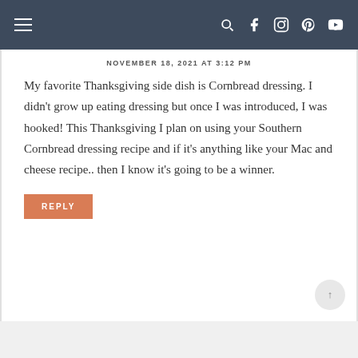navigation bar with hamburger menu and social icons
NOVEMBER 18, 2021 AT 3:12 PM
My favorite Thanksgiving side dish is Cornbread dressing. I didn’t grow up eating dressing but once I was introduced, I was hooked! This Thanksgiving I plan on using your Southern Cornbread dressing recipe and if it’s anything like your Mac and cheese recipe.. then I know it’s going to be a winner.
REPLY